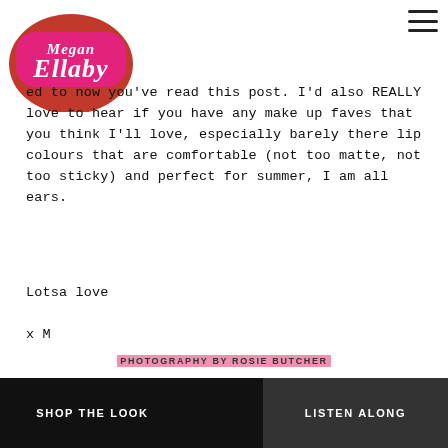[Figure (logo): Megan Ellaby blog logo in pink and red retro lettering]
...ed to now you've read this post. I'd also REALLY love to hear if you have any make up faves that you think I'll love, especially barely there lip colours that are comfortable (not too matte, not too sticky) and perfect for summer, I am all ears.
Lotsa love
x M
PHOTOGRAPHY BY ROSIE BUTCHER
SHOP THE LOOK    LISTEN ALONG